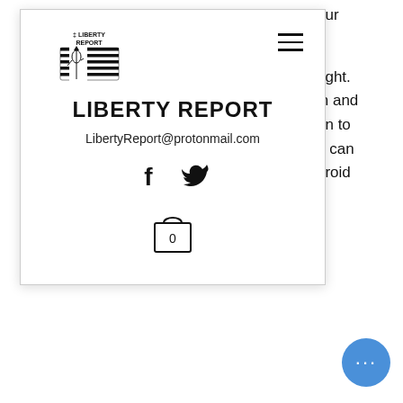[Figure (logo): Liberty Report navigation overlay with logo, site title, email, social icons, and cart]
for muscle gain for beginners.
To help you gain lean mass, supplement some amino acids or an extra fat day. To give you some muscle mass, take a protein and the DHEA and the testosterone will keep you running better. I'm sure the amount of testosterone will be very high and it will help prevent the unwanted side effects, best steroid cut